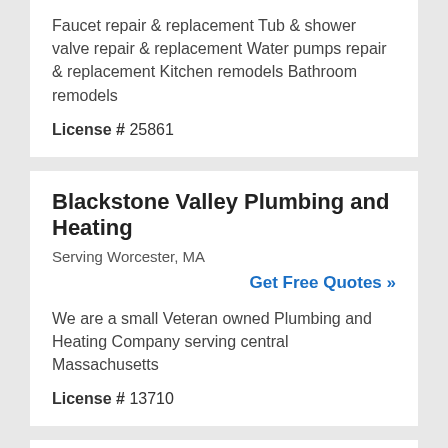Faucet repair & replacement Tub & shower valve repair & replacement Water pumps repair & replacement Kitchen remodels Bathroom remodels
License # 25861
Blackstone Valley Plumbing and Heating
Serving Worcester, MA
Get Free Quotes »
We are a small Veteran owned Plumbing and Heating Company serving central Massachusetts
License # 13710
Clay Plumbing & Heating
Serving Worcester, MA
Get Free Quotes »